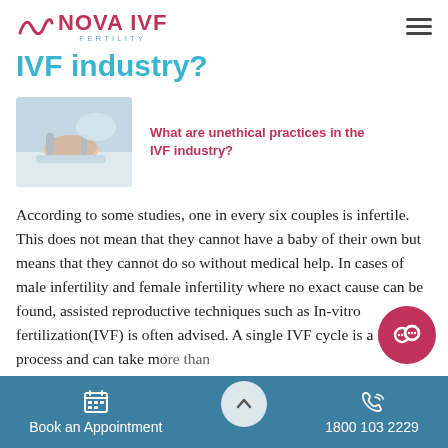NOVA IVF FERTILITY
IVF industry?
[Figure (photo): Photo of medical/laboratory procedure related to IVF, showing gloved hands with medical equipment]
What are unethical practices in the IVF industry?
According to some studies, one in every six couples is infertile. This does not mean that they cannot have a baby of their own but means that they cannot do so without medical help. In cases of male infertility and female infertility where no exact cause can be found, assisted reproductive techniques such as In-vitro fertilization(IVF) is often advised. A single IVF cycle is a long process and can take more than a month. This procedure can be undergone in hospitals as well as private clinics. IVF has helped to give birth to over 5 million babies. However, no one practising IVF gives
Book an Appointment    1800 103 2229